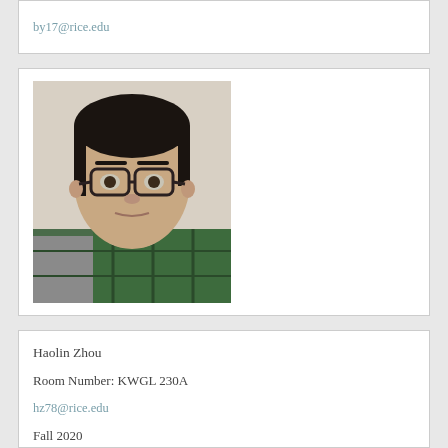by17@rice.edu
[Figure (photo): Headshot photo of a young man wearing glasses and a green plaid shirt, photographed against a light background.]
Haolin Zhou
Room Number: KWGL 230A
hz78@rice.edu
Fall 2020